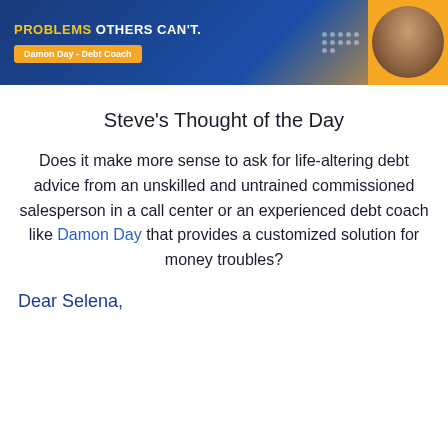[Figure (illustration): Banner ad for Damon Day Debt Coach with blue/gold background, text reading 'PROBLEMS OTHERS CAN'T.' and 'Damon Day - Debt Coach' badge, with a photo of a man on the right.]
Steve's Thought of the Day
Does it make more sense to ask for life-altering debt advice from an unskilled and untrained commissioned salesperson in a call center or an experienced debt coach like Damon Day that provides a customized solution for money troubles?
Dear Selena,